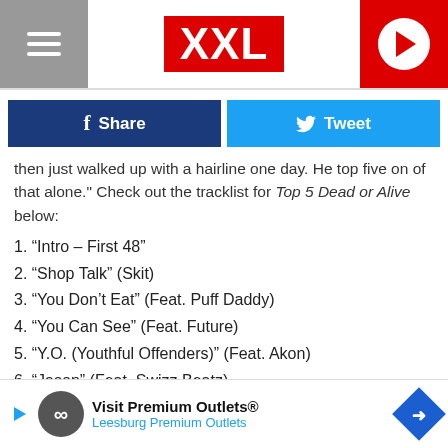XXL
[Figure (screenshot): Facebook Share button and Twitter Tweet button]
then just walked up with a hairline one day. He top five on of that alone." Check out the tracklist for Top 5 Dead or Alive below:
1. “Intro – First 48”
2. “Shop Talk” (Skit)
3. “You Don’t Eat” (Feat. Puff Daddy)
4. “You Can See” (Feat. Future)
5. “Y.O. (Youthful Offenders)” (Feat. Akon)
6. “Jason” (Feat. Swizz Beatz)
7. “Kill” (Feat. Lil’ Wayne)
8. “Ma…
9. “Syn…
[Figure (screenshot): Advertisement banner: Visit Premium Outlets® - Leesburg Premium Outlets]